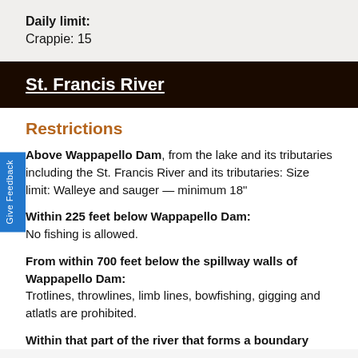Daily limit:
Crappie: 15
St. Francis River
Restrictions
Above Wappapello Dam, from the lake and its tributaries including the St. Francis River and its tributaries: Size limit: Walleye and sauger — minimum 18"
Within 225 feet below Wappapello Dam:
No fishing is allowed.
From within 700 feet below the spillway walls of Wappapello Dam:
Trotlines, throwlines, limb lines, bowfishing, gigging and atlatls are prohibited.
Within that part of the river that forms a boundary